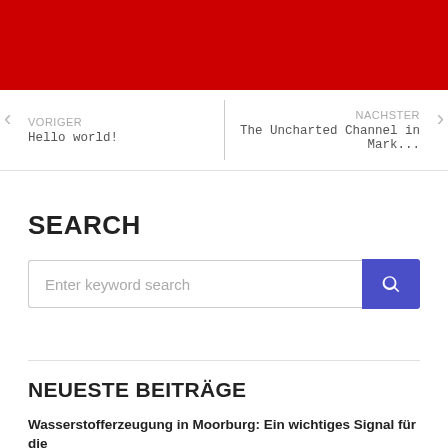[Figure (other): Red header bar at top of webpage]
< VORIGER
Hello world!
NACHSTER >
The Uncharted Channel in Mark...
SEARCH
Enter keyword search
NEUESTE BEITRÄGE
Wasserstofferzeugung in Moorburg: Ein wichtiges Signal für die